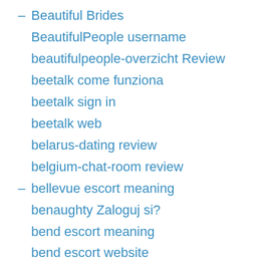Beautiful Brides
BeautifulPeople username
beautifulpeople-overzicht Review
beetalk come funziona
beetalk sign in
beetalk web
belarus-dating review
belgium-chat-room review
bellevue escort meaning
benaughty Zaloguj si?
bend escort meaning
bend escort website
best dating sites
best dating sites for over 40
best escort sites